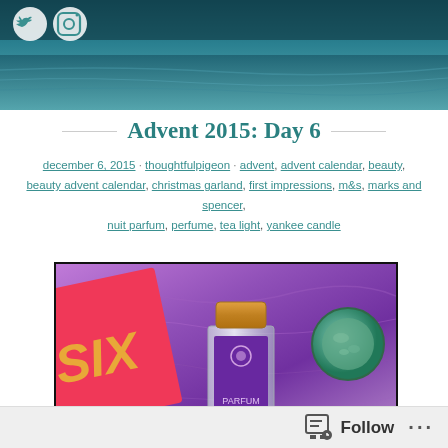[Figure (photo): Top banner showing a blurred water/sea background with social media icons (Twitter bird and Instagram camera) in white circles at top left]
Advent 2015: Day 6
december 6, 2015 · thoughtfulpigeon · advent, advent calendar, beauty, beauty advent calendar, christmas garland, first impressions, m&s, marks and spencer, nuit parfum, perfume, tea light, yankee candle
[Figure (photo): Photo of beauty advent calendar items: a pink box labeled SIX, a purple Nuit Parfum perfume bottle with gold cap, and a green Yankee Candle tea light, all on purple crinkled foil wrapping]
Follow ···